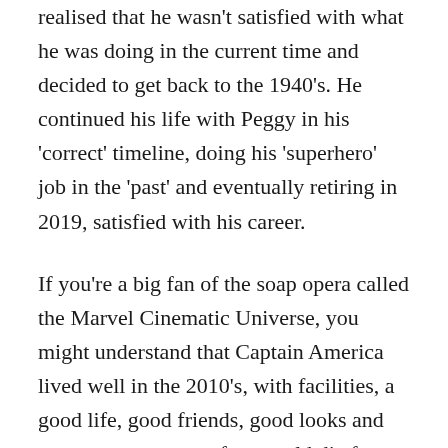realised that he wasn't satisfied with what he was doing in the current time and decided to get back to the 1940's. He continued his life with Peggy in his 'correct' timeline, doing his 'superhero' job in the 'past' and eventually retiring in 2019, satisfied with his career.
If you're a big fan of the soap opera called the Marvel Cinematic Universe, you might understand that Captain America lived well in the 2010's, with facilities, a good life, good friends, good looks and super powers most of us would die for. But he ended up dissatisfied and leaving it all behind.
Just like leaders who think their followers can be satisfied with awards and financial compensations, we sometimes fail to understand what matters to us